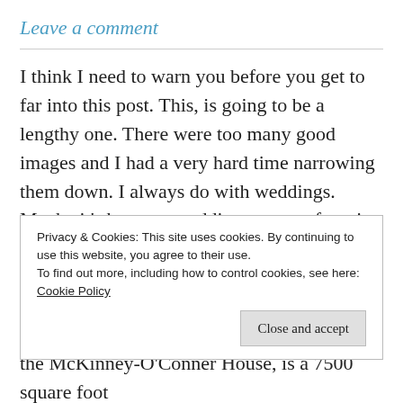Leave a comment
I think I need to warn you before you get to far into this post. This, is going to be a lengthy one. There were too many good images and I had a very hard time narrowing them down. I always do with weddings. Maybe it’s because weddings are my favorite event to photograph. Reguardless, there are a lot of images that you are going to get to see as you scroll. The venue for this wedding is beautiful! The Granite Club, also known as the McKinney-O’Conner House, is a 7500 square foot
Privacy & Cookies: This site uses cookies. By continuing to use this website, you agree to their use.
To find out more, including how to control cookies, see here:
Cookie Policy

Close and accept
I always getting that feeling that finished if from